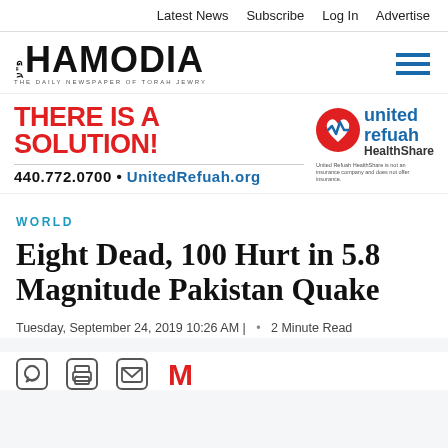Latest News  Subscribe  Log In  Advertise
[Figure (logo): Hamodia newspaper logo - THE DAILY NEWSPAPER OF TORAH JEWRY]
[Figure (infographic): United Refuah HealthShare advertisement: THERE IS A SOLUTION! 440.772.0700 • UnitedRefuah.org. United Refuah HealthShare is not an insurance company and does not offer insurance.]
WORLD
Eight Dead, 100 Hurt in 5.8 Magnitude Pakistan Quake
Tuesday, September 24, 2019 10:26 AM |  •  2 Minute Read